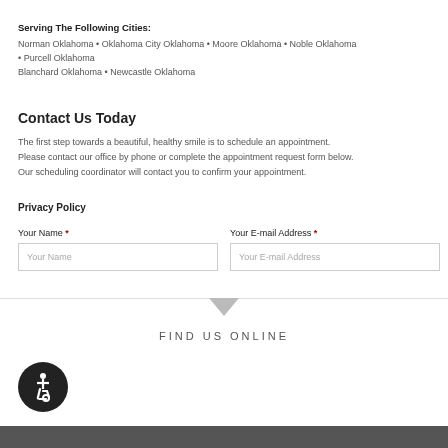Serving The Following Cities:
Norman Oklahoma • Oklahoma City Oklahoma • Moore Oklahoma • Noble Oklahoma • Purcell Oklahoma
Blanchard Oklahoma • Newcastle Oklahoma
Contact Us Today
The first step towards a beautiful, healthy smile is to schedule an appointment. Please contact our office by phone or complete the appointment request form below. Our scheduling coordinator will contact you to confirm your appointment.
Privacy Policy
Your Name *
Your E-mail Address *
FIND US ONLINE
[Figure (other): Accessibility icon badge — wheelchair symbol in white on dark circle background]